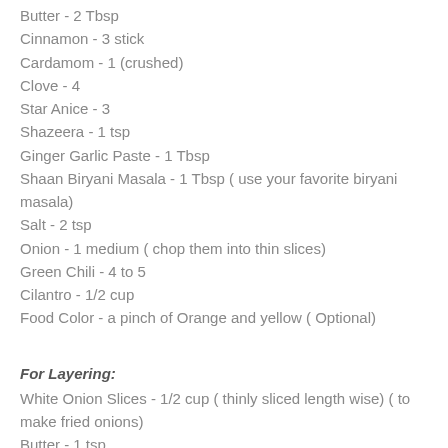Butter - 2 Tbsp
Cinnamon -  3 stick
Cardamom - 1 (crushed)
Clove - 4
Star Anice - 3
Shazeera - 1 tsp
Ginger Garlic Paste - 1 Tbsp
Shaan Biryani Masala - 1 Tbsp ( use your favorite biryani masala)
Salt - 2 tsp
Onion - 1 medium ( chop them into thin slices)
Green Chili - 4 to 5
Cilantro - 1/2 cup
Food Color - a pinch of Orange and yellow ( Optional)
For Layering:
White Onion Slices - 1/2 cup ( thinly sliced length wise) ( to make fried onions)
Butter - 1 tsp
Red Onion - 1/2 medium
Cilantro - 1 Tbsp
Mint - 1 Tbsp